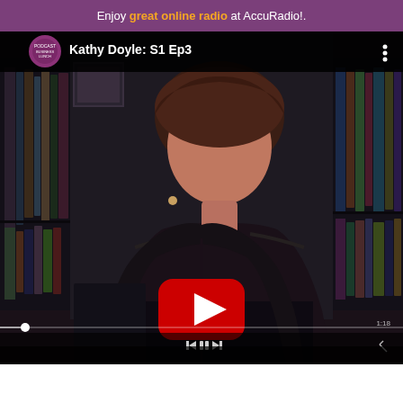Enjoy great online radio at AccuRadio!.
[Figure (screenshot): YouTube video thumbnail showing a woman with short auburn hair in a dark jacket seated in front of a bookshelf. The video title reads 'Kathy Doyle: S1 Ep3' with a channel icon on the left. A large red YouTube play button is centered over the thumbnail. Video player controls including progress bar and bottom control bar are visible.]